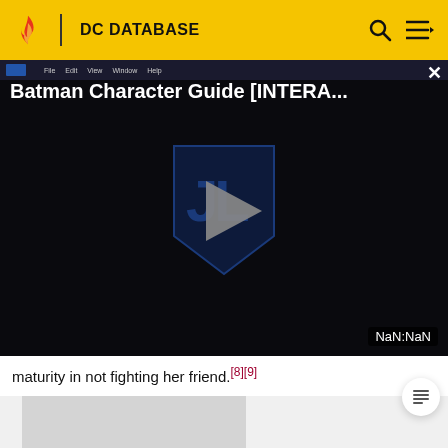DC DATABASE
[Figure (screenshot): Batman Character Guide [INTERA...] video player on DC Database wiki. Dark background with Justice League shield logo and play button in center. Timer shows NaN:NaN. Close button (X) in top right.]
maturity in not fighting her friend.[8][9]
[Figure (photo): Gray placeholder image box below the text content]